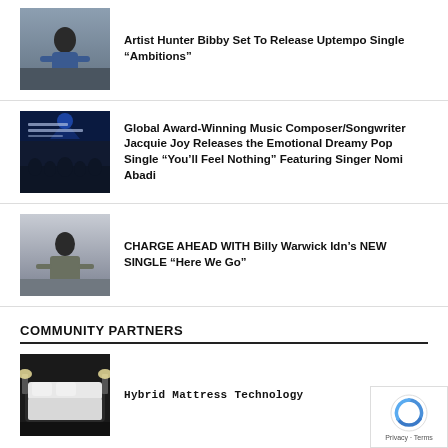[Figure (photo): Man in denim jacket outdoors against cloudy sky]
Artist Hunter Bibby Set To Release Uptempo Single “Ambitions”
[Figure (photo): Concert crowd with blue stage lighting and text overlay]
Global Award-Winning Music Composer/Songwriter Jacquie Joy Releases the Emotional Dreamy Pop Single “You’ll Feel Nothing” Featuring Singer Nomi Abadi
[Figure (photo): Man in grey jacket outdoors against cloudy sky]
CHARGE AHEAD WITH Billy Warwick Idn’s NEW SINGLE “Here We Go”
COMMUNITY PARTNERS
[Figure (photo): Bed with white mattress in dark room with lamps]
Hybrid Mattress Technology